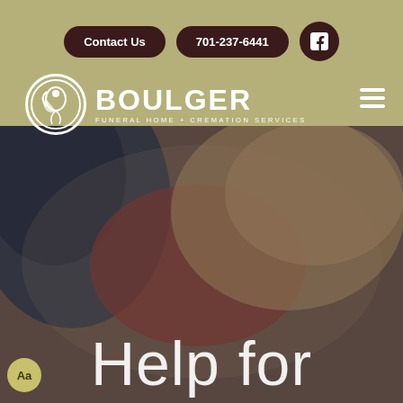[Figure (screenshot): Boulger Funeral Home & Cremation Services website screenshot showing navigation bar with Contact Us and phone number buttons, logo, and a hero image of a folded American flag with the text 'Help for' overlaid.]
Contact Us   701-237-6441
BOULGER FUNERAL HOME + CREMATION SERVICES
Help for